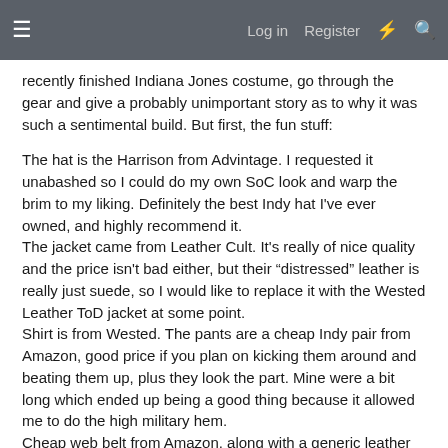Log in  Register
recently finished Indiana Jones costume, go through the gear and give a probably unimportant story as to why it was such a sentimental build. But first, the fun stuff:
The hat is the Harrison from Advintage. I requested it unabashed so I could do my own SoC look and warp the brim to my liking. Definitely the best Indy hat I've ever owned, and highly recommend it.
The jacket came from Leather Cult. It's really of nice quality and the price isn't bad either, but their “distressed” leather is really just suede, so I would like to replace it with the Wested Leather ToD jacket at some point.
Shirt is from Wested. The pants are a cheap Indy pair from Amazon, good price if you plan on kicking them around and beating them up, plus they look the part. Mine were a bit long which ended up being a good thing because it allowed me to do the high military hem.
Cheap web belt from Amazon, along with a generic leather gun belt. I made the whip latch and holster myself, which was